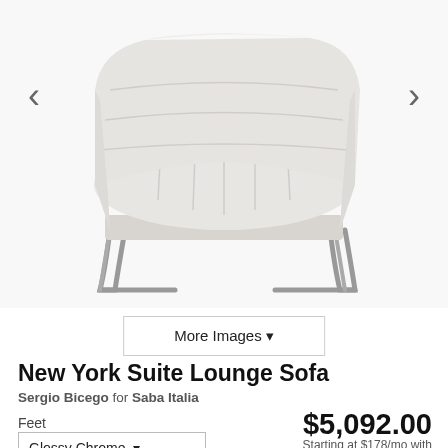[Figure (photo): A white/light gray lounge sofa with tufted cushioning and silver/chrome metal sled frame legs, photographed against a white background. Navigation arrows visible on left and right sides.]
More Images ▼
New York Suite Lounge Sofa
Sergio Bicego for Saba Italia
Feet
$5,092.00
Glossy Chrome ▼
Starting at $178/mo with